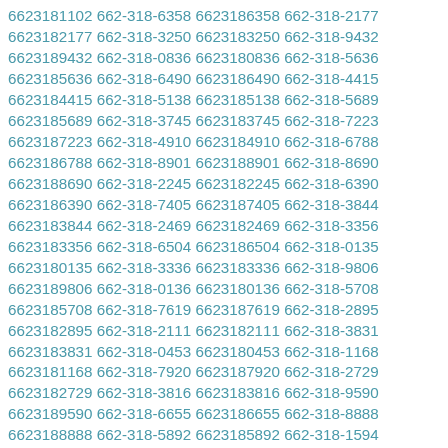6623181102 662-318-6358 6623186358 662-318-2177 6623182177 662-318-3250 6623183250 662-318-9432 6623189432 662-318-0836 6623180836 662-318-5636 6623185636 662-318-6490 6623186490 662-318-4415 6623184415 662-318-5138 6623185138 662-318-5689 6623185689 662-318-3745 6623183745 662-318-7223 6623187223 662-318-4910 6623184910 662-318-6788 6623186788 662-318-8901 6623188901 662-318-8690 6623188690 662-318-2245 6623182245 662-318-6390 6623186390 662-318-7405 6623187405 662-318-3844 6623183844 662-318-2469 6623182469 662-318-3356 6623183356 662-318-6504 6623186504 662-318-0135 6623180135 662-318-3336 6623183336 662-318-9806 6623189806 662-318-0136 6623180136 662-318-5708 6623185708 662-318-7619 6623187619 662-318-2895 6623182895 662-318-2111 6623182111 662-318-3831 6623183831 662-318-0453 6623180453 662-318-1168 6623181168 662-318-7920 6623187920 662-318-2729 6623182729 662-318-3816 6623183816 662-318-9590 6623189590 662-318-6655 6623186655 662-318-8888 6623188888 662-318-5892 6623185892 662-318-1594 6623181594 662-318-0952 6623180952 662-318-2915 6623182915 662-318-3941 6623183941 662-318-3509 6623183509 662-318-9322 6623189322 662-318-3378 6623183378 662-318-7229 6623187229 662-318-9271 6623189271 662-318-0479 6623180479 662-318-4004 6623184004 662-318-0935 6623180935 662-318-7288 6623187288 662-318-5237 6623185237 662-318-9724 6623189724 662-318-3377 6623183377 662-318-8454 6623188454 662-318-3900 6623183900 662-318-4631 6623184631 662-318-4810 6623184810 662-318-8504 6623188504 662-318-0815 6623180815 662-318-8446 6623188446 662-318-5274 6623185274 662-318-8575 6623188575 662-318-5619 6623185619 662-